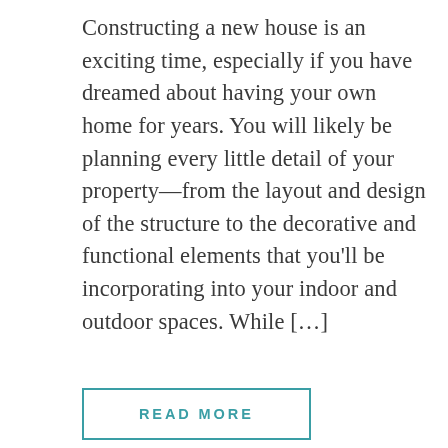Constructing a new house is an exciting time, especially if you have dreamed about having your own home for years. You will likely be planning every little detail of your property—from the layout and design of the structure to the decorative and functional elements that you'll be incorporating into your indoor and outdoor spaces. While […]
READ MORE
[Figure (photo): Dark interior photo showing a ceiling light glowing warmly with wooden ceiling panels visible. A date label 'September 14, 2020' is overlaid in the lower right corner on a dark background.]